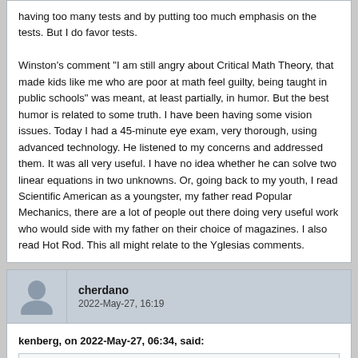having too many tests and by putting too much emphasis on the tests. But I do favor tests.

Winston's comment "I am still angry about Critical Math Theory, that made kids like me who are poor at math feel guilty, being taught in public schools" was meant, at least partially, in humor. But the best humor is related to some truth. I have been having some vision issues. Today I had a 45-minute eye exam, very thorough, using advanced technology. He listened to my concerns and addressed them. It was all very useful. I have no idea whether he can solve two linear equations in two unknowns. Or, going back to my youth, I read Scientific American as a youngster, my father read Popular Mechanics, there are a lot of people out there doing very useful work who would side with my father on their choice of magazines. I also read Hot Rod. This all might relate to the Yglesias comments.
cherdano
2022-May-27, 16:19
kenberg, on 2022-May-27, 06:34, said:
We have a deep problem. When I said that my problem with CRT was the Talent that it be...